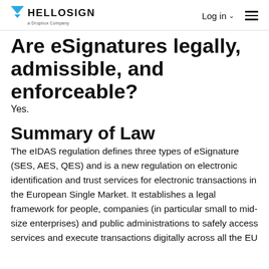HELLOSIGN a Dropbox Company | Log in | menu
Are eSignatures legally admissible, and enforceable?
Yes.
Summary of Law
The eIDAS regulation defines three types of eSignature (SES, AES, QES) and is a new regulation on electronic identification and trust services for electronic transactions in the European Single Market. It establishes a legal framework for people, companies (in particular small to mid-size enterprises) and public administrations to safely access services and execute transactions digitally across all the EU